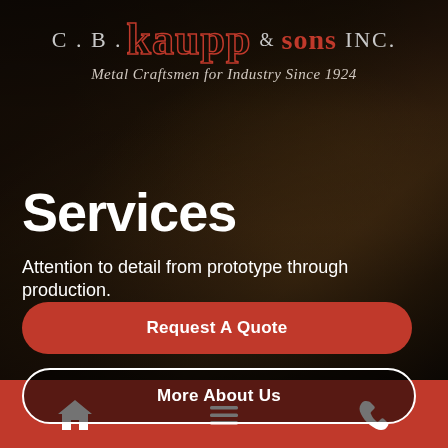[Figure (photo): Background photo of a metalworker's hands operating a lathe or grinding machine, dark industrial setting]
C. B. kaupp & sons INC.
Metal Craftsmen for Industry Since 1924
Services
Attention to detail from prototype through production.
Request A Quote
More About Us
Home | Menu | Phone (navigation icons)